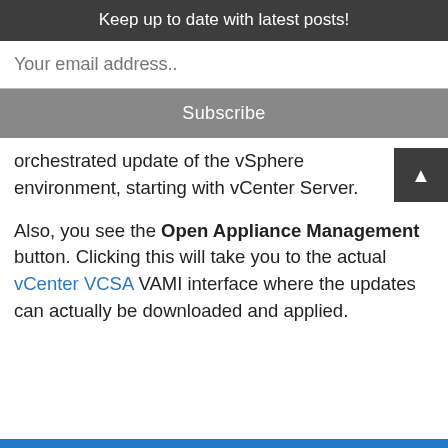Keep up to date with latest posts!
Your email address..
Subscribe
orchestrated update of the vSphere environment, starting with vCenter Server.
Also, you see the Open Appliance Management button. Clicking this will take you to the actual vCenter VCSA VAMI interface where the updates can actually be downloaded and applied.